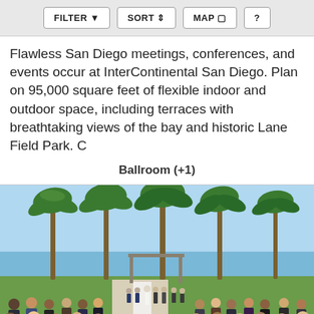FILTER  SORT  MAP  ?
Flawless San Diego meetings, conferences, and events occur at InterContinental San Diego. Plan on 95,000 square feet of flexible indoor and outdoor space, including terraces with breathtaking views of the bay and historic Lane Field Park. C
Ballroom (+1)
[Figure (photo): Outdoor wedding ceremony at a venue with tall palm trees beside a bay, with guests seated on both sides of a white aisle and the wedding party at the altar under a clear blue sky.]
Hilton San Diego Bayfront